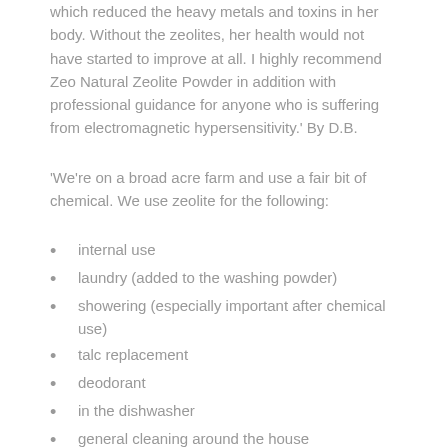which reduced the heavy metals and toxins in her body. Without the zeolites, her health would not have started to improve at all. I highly recommend Zeo Natural Zeolite Powder in addition with professional guidance for anyone who is suffering from electromagnetic hypersensitivity.' By D.B.
'We're on a broad acre farm and use a fair bit of chemical. We use zeolite for the following:
internal use
laundry (added to the washing powder)
showering (especially important after chemical use)
talc replacement
deodorant
in the dishwasher
general cleaning around the house
sometimes add it to the toothpaste